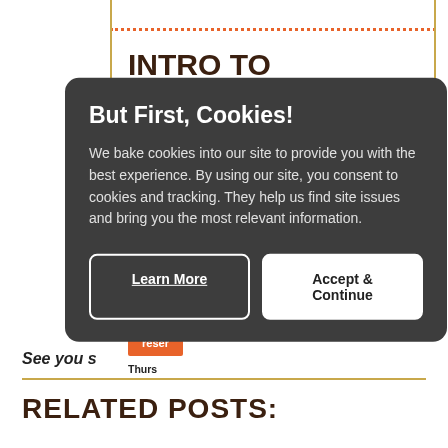INTRO TO CORNMAN FARMS TOUR
Enjoy... Cornman farms... agricultural... of animals... one of...
Thursdays...
reserve
See you s...
RELATED POSTS:
[Figure (screenshot): Cookie consent modal popup with dark gray background. Title: 'But First, Cookies!' Body text: 'We bake cookies into our site to provide you with the best experience. By using our site, you consent to cookies and tracking. They help us find site issues and bring you the most relevant information.' Two buttons: 'Learn More' (dark outlined) and 'Accept & Continue' (white filled). A cookie emoji icon is visible at top left of popup.]